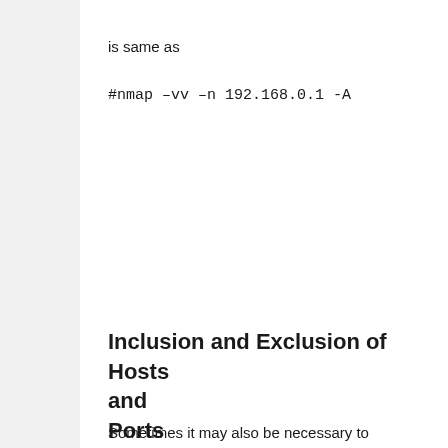is same as
#nmap –vv –n 192.168.0.1 -A
Inclusion and Exclusion of Hosts and Ports
Sometimes it may also be necessary to